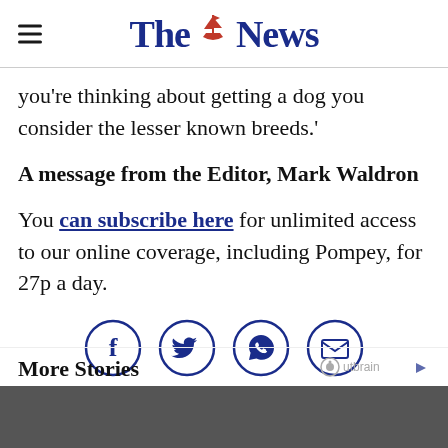The News
you're thinking about getting a dog you consider the lesser known breeds.'
A message from the Editor, Mark Waldron
You can subscribe here for unlimited access to our online coverage, including Pompey, for 27p a day.
[Figure (other): Social sharing icons: Facebook, Twitter, WhatsApp, Email — each in a dark blue circle outline]
More Stories
[Figure (other): Outbrain logo with play icon]